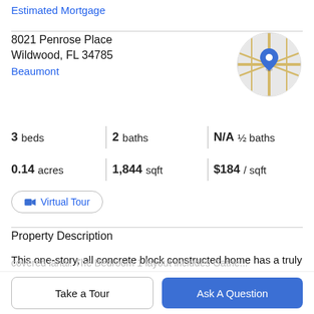Estimated Mortgage
8021 Penrose Place
Wildwood, FL 34785
Beaumont
[Figure (map): Circular map thumbnail showing street map with blue location pin marker]
3 beds | 2 baths | N/A ½ baths
0.14 acres | 1,844 sqft | $184 / sqft
Virtual Tour
Property Description
This one-story, all concrete block constructed home has a truly open concept plan, featuring a spacious kitchen with
Take a Tour
Ask A Question